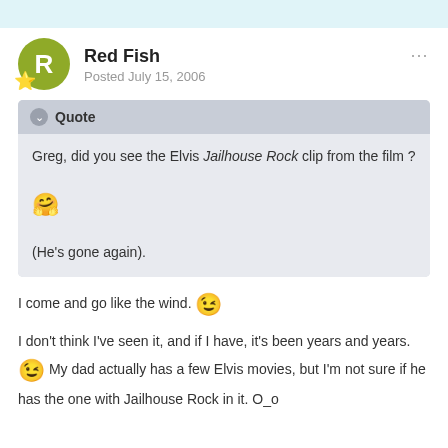Red Fish
Posted July 15, 2006
Quote
Greg, did you see the Elvis Jailhouse Rock clip from the film ?
(He's gone again).
I come and go like the wind.
I don't think I've seen it, and if I have, it's been years and years. My dad actually has a few Elvis movies, but I'm not sure if he has the one with Jailhouse Rock in it. O_o